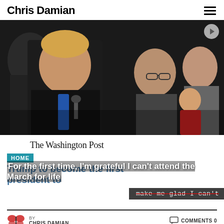Chris Damian
[Figure (photo): Photo of Donald Trump speaking at a podium with other people around him, including a man in glasses smiling behind him and a toddler in a red outfit on the right.]
[Figure (screenshot): Screenshot of a Washington Post article with headline 'Trump to become the first president to...' overlaid with blog post title 'For the first time, I'm grateful I can't attend the March for life' and a strikethrough text banner reading 'make me glad I can't']
For the first time, I'm grateful I can't attend the March for life
BY CHRIS DAMIAN
COMMENTS 0